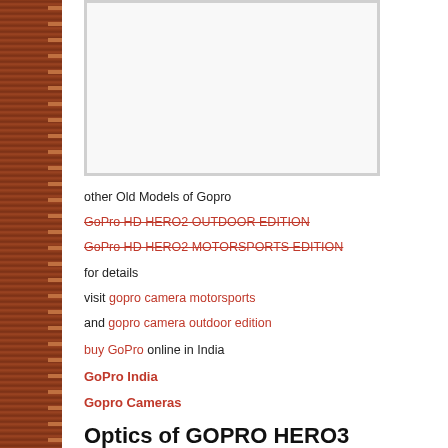[Figure (photo): White/blank image placeholder box with light gray border]
other Old Models of Gopro
GoPro HD HERO2 OUTDOOR EDITION (strikethrough)
GoPro HD HERO2 MOTORSPORTS EDITION (strikethrough)
for details
visit gopro camera motorsports
and gopro camera outdoor edition
buy GoPro online in India
GoPro India
Gopro Cameras
Optics of GOPRO HERO3